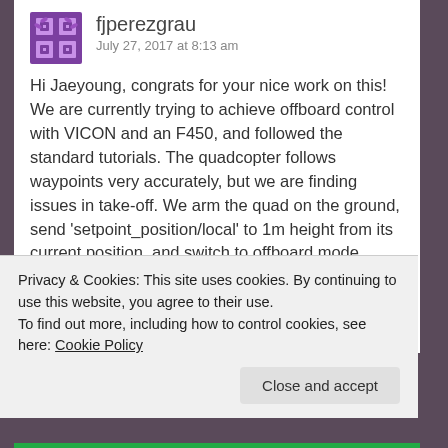[Figure (logo): Purple decorative avatar icon for user fjperezgrau]
fjperezgrau
July 27, 2017 at 8:13 am
Hi Jaeyoung, congrats for your nice work on this! We are currently trying to achieve offboard control with VICON and an F450, and followed the standard tutorials. The quadcopter follows waypoints very accurately, but we are finding issues in take-off. We arm the quad on the ground, send 'setpoint_position/local' to 1m height from its current position, and switch to offboard mode. Then the quad overshoots to approximately 2.5m followed by a slow height decrease until the setpoint height of 1m. Does
Privacy & Cookies: This site uses cookies. By continuing to use this website, you agree to their use.
To find out more, including how to control cookies, see here: Cookie Policy
Close and accept